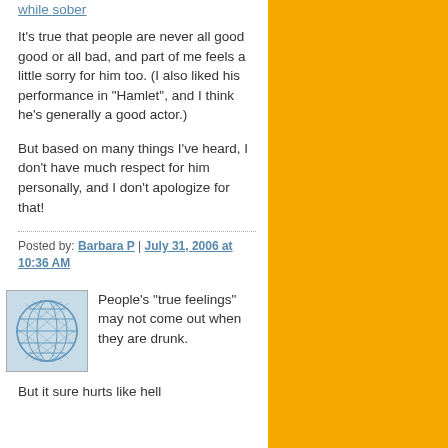while sober
It's true that people are never all good good or all bad, and part of me feels a little sorry for him too. (I also liked his performance in "Hamlet", and I think he's generally a good actor.)
But based on many things I've heard, I don't have much respect for him personally, and I don't apologize for that!
Posted by: Barbara P | July 31, 2006 at 10:36 AM
[Figure (illustration): Avatar icon with blue globe/net pattern on light blue background]
People's "true feelings" may not come out when they are drunk.
But it sure hurts like hell